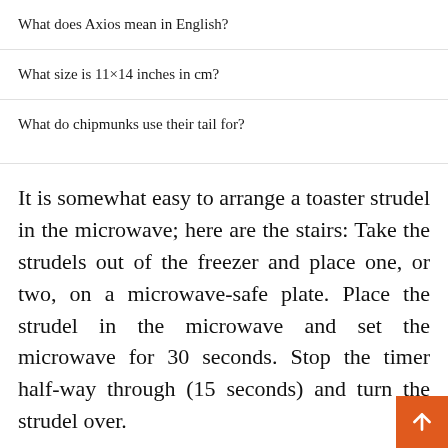What does Axios mean in English?
What size is 11×14 inches in cm?
What do chipmunks use their tail for?
It is somewhat easy to arrange a toaster strudel in the microwave; here are the stairs: Take the strudels out of the freezer and place one, or two, on a microwave-safe plate. Place the strudel in the microwave and set the microwave for 30 seconds. Stop the timer half-way through (15 seconds) and turn the strudel over.
Did they discontinue